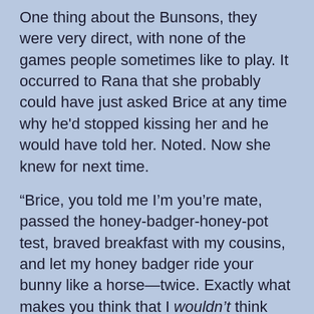One thing about the Bunsons, they were very direct, with none of the games people sometimes like to play. It occurred to Rana that she probably could have just asked Brice at any time why he'd stopped kissing her and he would have told her. Noted. Now she knew for next time.
“Brice, you told me I’m you’re mate, passed the honey-badger-honey-pot test, braved breakfast with my cousins, and let my honey badger ride your bunny like a horse—twice. Exactly what makes you think that I wouldn’t think you’re serious?”
He opened his mouth. Closed his mouth. His forehead wrinkled. Then he gave her a look. “The fact that you’re trying to trick me into sex before the third date?”
That shouldn’t be cute, but it was. She was beginning to realize that was Brice though—confidence, charm, a take-